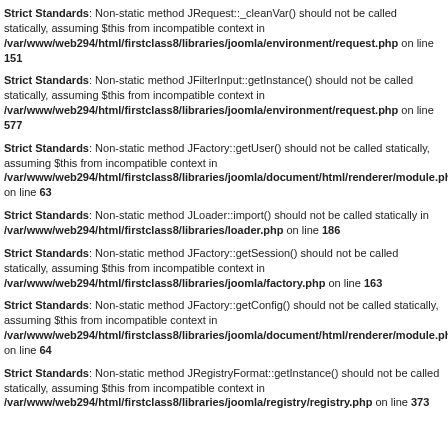Strict Standards: Non-static method JRequest::_cleanVar() should not be called statically, assuming $this from incompatible context in /var/www/web294/html/firstclass8/libraries/joomla/environment/request.php on line 151
Strict Standards: Non-static method JFilterInput::getInstance() should not be called statically, assuming $this from incompatible context in /var/www/web294/html/firstclass8/libraries/joomla/environment/request.php on line 577
Strict Standards: Non-static method JFactory::getUser() should not be called statically, assuming $this from incompatible context in /var/www/web294/html/firstclass8/libraries/joomla/document/html/renderer/module.ph on line 63
Strict Standards: Non-static method JLoader::import() should not be called statically in /var/www/web294/html/firstclass8/libraries/loader.php on line 186
Strict Standards: Non-static method JFactory::getSession() should not be called statically, assuming $this from incompatible context in /var/www/web294/html/firstclass8/libraries/joomla/factory.php on line 163
Strict Standards: Non-static method JFactory::getConfig() should not be called statically, assuming $this from incompatible context in /var/www/web294/html/firstclass8/libraries/joomla/document/html/renderer/module.ph on line 64
Strict Standards: Non-static method JRegistryFormat::getInstance() should not be called statically, assuming $this from incompatible context in /var/www/web294/html/firstclass8/libraries/joomla/registry/registry.php on line 373